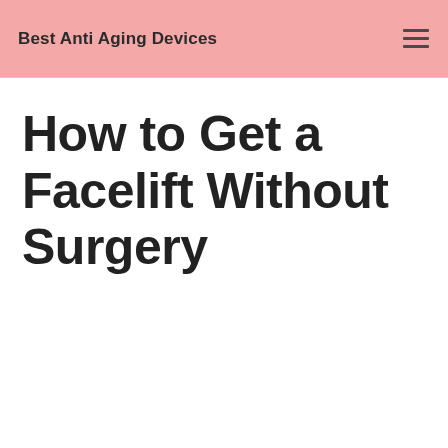Best Anti Aging Devices
How to Get a Facelift Without Surgery